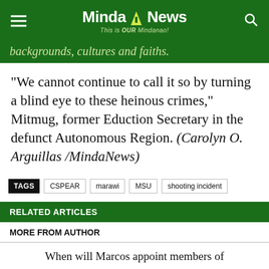MindaNews — This is OUR Mindanao!
backgrounds, cultures and faiths.
“We cannot continue to call it so by turning a blind eye to these heinous crimes,” Mitmug, former Eduction Secretary in the defunct Autonomous Region. (Carolyn O. Arguillas /MindaNews)
TAGS: CSPEAR | marawi | MSU | shooting incident
RELATED ARTICLES
MORE FROM AUTHOR
When will Marcos appoint members of